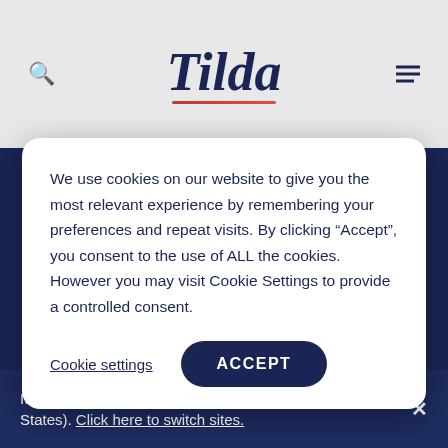Tilda
[Figure (screenshot): Dark blue background webpage with Tilda brand image visible behind the cookie consent modal]
We use cookies on our website to give you the most relevant experience by remembering your preferences and repeat visits. By clicking “Accept”, you consent to the use of ALL the cookies. However you may visit Cookie Settings to provide a controlled consent.
Cookie settings   ACCEPT
We promise to treat your contact details with respect and
It looks like your language preference is English (United States). Click here to switch sites.